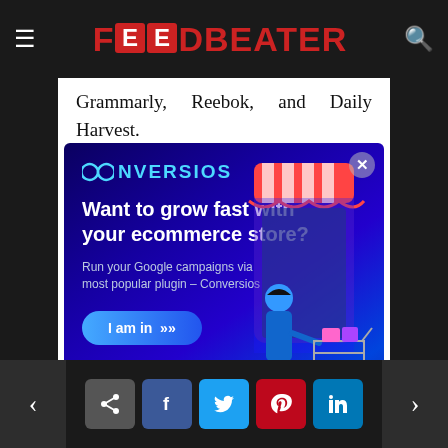FEEDBEATER
Grammarly, Reebok, and Daily Harvest.
[Figure (infographic): Conversios advertisement popup: dark blue/purple gradient background. Logo at top left reads 'CONVERSIOS' with an infinity-loop icon. Headline: 'Want to grow fast with your ecommerce store?' Subtext: 'Run your Google campaigns via most popular plugin – Conversios'. Blue gradient CTA button reading 'I am in »'. On the right side, an illustration of a woman shopping with a cart next to a large smartphone with a striped awning. Close button (X) in top right corner.]
Image source
Although it is possible to include as